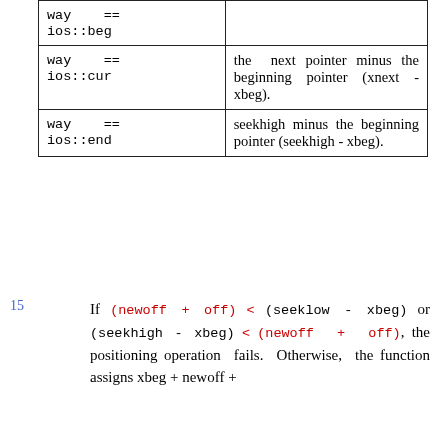| Condition | Description |
| --- | --- |
| way == ios::beg |  |
| way ==
ios::cur | the next pointer minus the beginning pointer (xnext - xbeg). |
| way ==
ios::end | seekhigh minus the beginning pointer (seekhigh - xbeg). |
If (newoff + off) < (seeklow - xbeg) or (seekhigh - xbeg) < (newoff + off), the positioning operation fails. Otherwise, the function assigns xbeg + newoff +